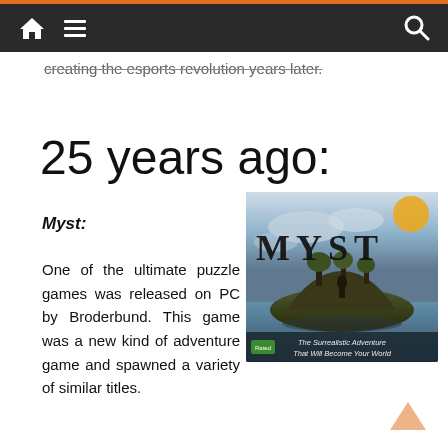navigation bar with home, menu, and search icons
creating the esports revolution years later.
25 years ago:
Myst:
[Figure (photo): Myst game box cover showing a surrealistic island scene with the title MYST in large letters, subtitle: The Surrealistic Adventure That Will Become Your World]
One of the ultimate puzzle games was released on PC by Broderbund. This game was a new kind of adventure game and spawned a variety of similar titles.